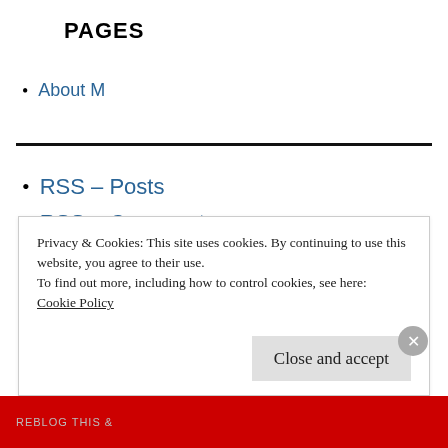PAGES
About M
RSS - Posts
RSS - Comments
Privacy & Cookies: This site uses cookies. By continuing to use this website, you agree to their use.
To find out more, including how to control cookies, see here:
Cookie Policy
Close and accept